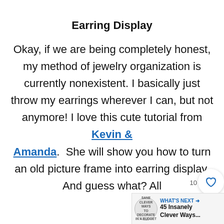Earring Display
Okay, if we are being completely honest, my method of jewelry organization is currently nonexistent. I basically just throw my earrings wherever I can, but not anymore! I love this cute tutorial from Kevin & Amanda.  She will show you how to turn an old picture frame into earring display. And guess what? All